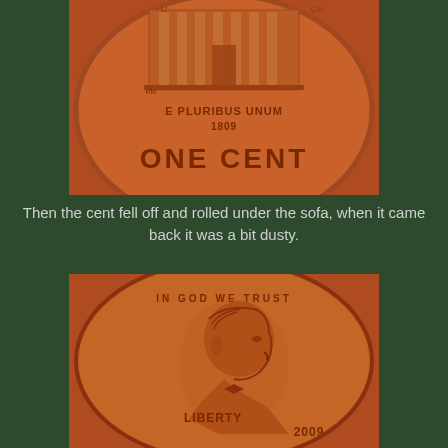[Figure (photo): Close-up photograph of the reverse (tails) side of a US Lincoln penny showing 'ONE CENT', 'E PLURIBUS UNUM', '1809', and a log cabin building design, copper colored coin on orange-red background]
Then the cent fell off and rolled under the sofa, when it came back it was a bit dusty.
[Figure (photo): Close-up photograph of the obverse (heads) side of a US Lincoln penny showing Lincoln's portrait, 'LIBERTY', 'IN GOD WE TRUST', '2009', dusty/worn appearance, copper colored coin on orange-red background]